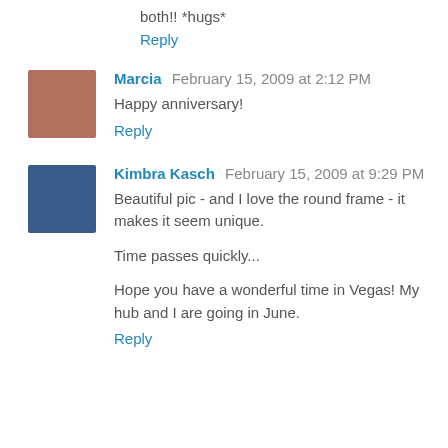both!! *hugs*
Reply
[Figure (photo): Avatar photo of Marcia - woman with brown hair]
Marcia  February 15, 2009 at 2:12 PM
Happy anniversary!
Reply
[Figure (photo): Avatar photo of Kimbra Kasch - person in dark clothing]
Kimbra Kasch  February 15, 2009 at 9:29 PM
Beautiful pic - and I love the round frame - it makes it seem unique.
Time passes quickly...
Hope you have a wonderful time in Vegas! My hub and I are going in June.
Reply